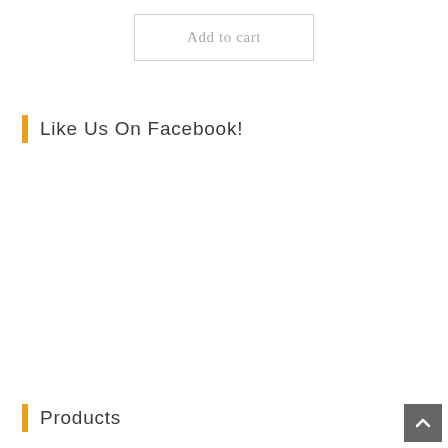Add to cart
Like Us On Facebook!
Products